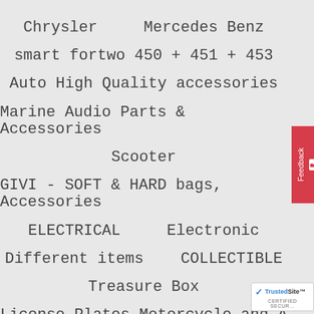Chrysler    Mercedes Benz
smart fortwo 450 + 451 + 453
Auto High Quality accessories
Marine Audio Parts & Accessories
Scooter
GIVI - SOFT & HARD bags, Accessories
ELECTRICAL    Electronic
Different items    COLLECTIBLE
Treasure Box
License Plates Motorcycle and A...